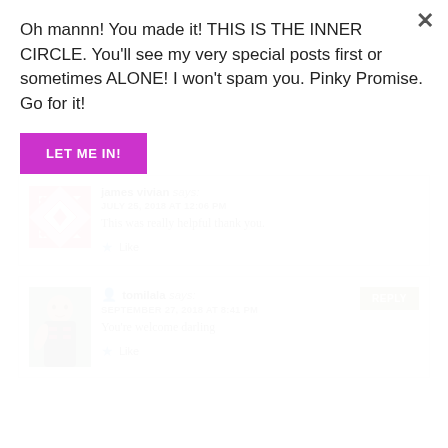Oh mannn! You made it! THIS IS THE INNER CIRCLE. You'll see my very special posts first or sometimes ALONE! I won't spam you. Pinky Promise. Go for it!
LET ME IN!
james vivian says:
JULY 25, 2018 AT 12:06 PM
This was really helpful thank you.
Like
tomilala says:
SEPTEMBER 27, 2018 AT 8:41 PM
You're welcome darling
Like